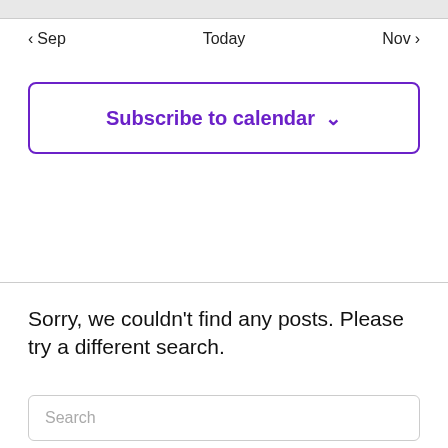< Sep    Today    Nov >
Subscribe to calendar ∨
Sorry, we couldn't find any posts. Please try a different search.
Search